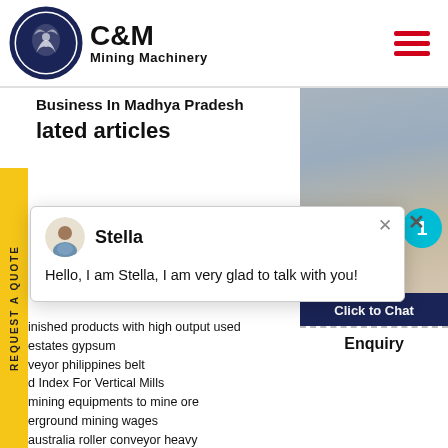[Figure (logo): C&M Mining Machinery logo with eagle in gear icon]
Business In Madhya Pradesh
lated articles
[Figure (screenshot): Chat popup with agent Stella saying: Hello, I am Stella, I am very glad to talk with you!]
inished products with high output used
estates gypsum
veyor philippines belt
d Index For Vertical Mills
mining equipments to mine ore
erground mining wages
australia roller conveyor heavy
begin a stone crushing mill
ms sadbhav quarry bekerja gujarat
Vertical Clinker Grinder Manufacturers In Ind
Click to Chat
Enquiry